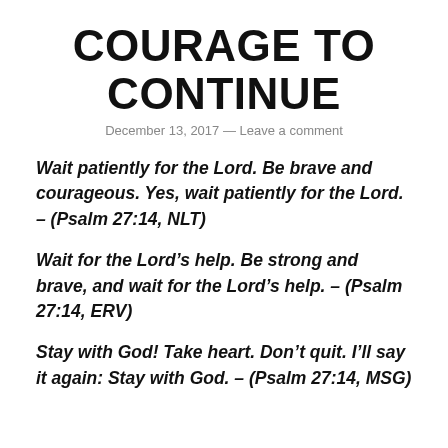COURAGE TO CONTINUE
December 13, 2017 — Leave a comment
Wait patiently for the Lord. Be brave and courageous. Yes, wait patiently for the Lord. – (Psalm 27:14, NLT)
Wait for the Lord's help. Be strong and brave, and wait for the Lord's help. – (Psalm 27:14, ERV)
Stay with God! Take heart. Don't quit. I'll say it again: Stay with God. – (Psalm 27:14, MSG)